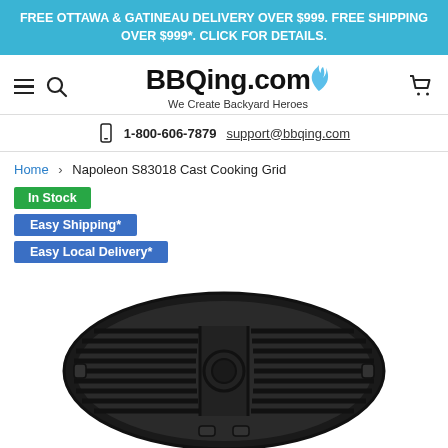FREE OTTAWA & GATINEAU DELIVERY OVER $999. FREE SHIPPING OVER $999*. CLICK FOR DETAILS.
[Figure (logo): BBQing.com logo with flame icon and tagline 'We Create Backyard Heroes']
1-800-606-7879 support@bbqing.com
Home > Napoleon S83018 Cast Cooking Grid
In Stock
Easy Shipping*
Easy Local Delivery*
[Figure (photo): Napoleon S83018 Cast Cooking Grid - round black cast iron cooking grate with hinged sections]